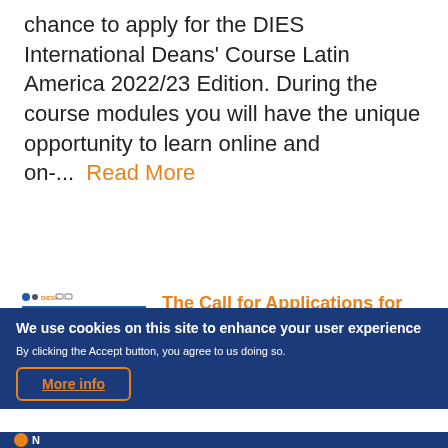chance to apply for the DIES International Deans' Course Latin America 2022/23 Edition. During the course modules you will have the unique opportunity to learn online and on-...  Read More
[Figure (illustration): DIES IDC LA 22/23 Call for Application brochure cover image showing hands exchanging a document]
The Call for Applications for the DIES INTERNATIONAL DEANS' COURSE LATIN
We use cookies on this site to enhance your user experience
By clicking the Accept button, you agree to us doing so.
More info
N...